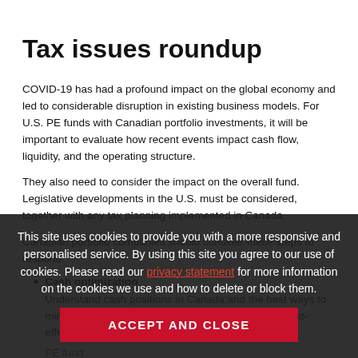Tax issues roundup
COVID-19 has had a profound impact on the global economy and led to considerable disruption in existing business models. For U.S. PE funds with Canadian portfolio investments, it will be important to evaluate how recent events impact cash flow, liquidity, and the operating structure.
They also need to consider the impact on the overall fund. Legislative developments in the U.S. must be considered, together with any tax planning implemented in Canada.
Canadian portfolio companies should consider these steps to respond:
Cash optimization
Understand cash positions in Canada and the best ways to minimize tax leakage when repatriating funds in a cost-effective manner to the PE fund.
Broad tax debt planning
Are there enhanced tax planning opportunities or cost planning to be implemented on how to monetize tax attributes? Consider the global effective tax rate and what planning can be undertaken by paying
This site uses cookies to provide you with a more responsive and personalised service. By using this site you agree to our use of cookies. Please read our privacy statement for more information on the cookies we use and how to delete or block them.
ACCEPT AND CLOSE